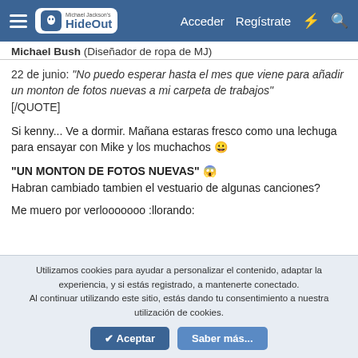Michael Jackson's HideOut — Acceder  Regístrate
Michael Bush (Diseñador de ropa de MJ)
22 de junio: "No puedo esperar hasta el mes que viene para añadir un monton de fotos nuevas a mi carpeta de trabajos" [/QUOTE]
Si kenny... Ve a dormir. Mañana estaras fresco como una lechuga para ensayar con Mike y los muchachos 😀
"UN MONTON DE FOTOS NUEVAS" 😱
Habran cambiado tambien el vestuario de algunas canciones?
Me muero por verlooooooo :llorando:
Utilizamos cookies para ayudar a personalizar el contenido, adaptar la experiencia, y si estás registrado, a mantenerte conectado. Al continuar utilizando este sitio, estás dando tu consentimiento a nuestra utilización de cookies.